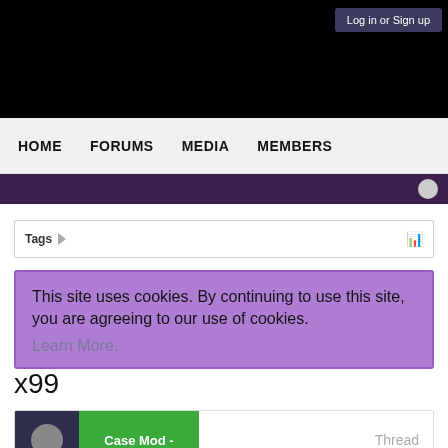[Figure (screenshot): Black header banner of a website]
Log in or Sign up
HOME   FORUMS   MEDIA   MEMBERS
Tags
This site uses cookies. By continuing to use this site, you are agreeing to our use of cookies. Learn More.
x99
Case Mod -   Thread